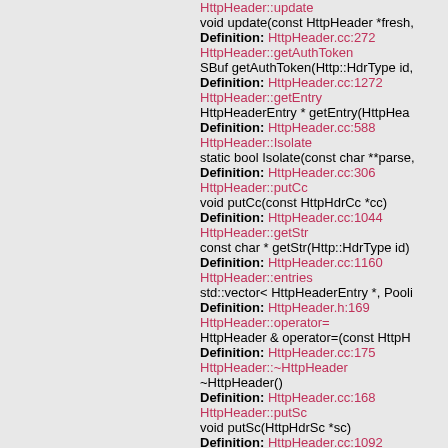HttpHeader::update
void update(const HttpHeader *fresh),
Definition: HttpHeader.cc:272
HttpHeader::getAuthToken
SBuf getAuthToken(Http::HdrType id,
Definition: HttpHeader.cc:1272
HttpHeader::getEntry
HttpHeaderEntry * getEntry(HttpHea
Definition: HttpHeader.cc:588
HttpHeader::Isolate
static bool Isolate(const char **parse,
Definition: HttpHeader.cc:306
HttpHeader::putCc
void putCc(const HttpHdrCc *cc)
Definition: HttpHeader.cc:1044
HttpHeader::getStr
const char * getStr(Http::HdrType id)
Definition: HttpHeader.cc:1160
HttpHeader::entries
std::vector< HttpHeaderEntry *, Pooli
Definition: HttpHeader.h:169
HttpHeader::operator=
HttpHeader & operator=(const HttpH
Definition: HttpHeader.cc:175
HttpHeader::~HttpHeader
~HttpHeader()
Definition: HttpHeader.cc:168
HttpHeader::putSc
void putSc(HttpHdrSc *sc)
Definition: HttpHeader.cc:1092
HttpHeader::teUnsupported_
bool teUnsupported_
Definition: HttpHeader.h:191
HttpHeader::needUpdate
bool needUpdate(const HttpHeader *
Definition: HttpHeader.cc:249
HttpHeader::putRange
void putRange(const HttpHdrRange